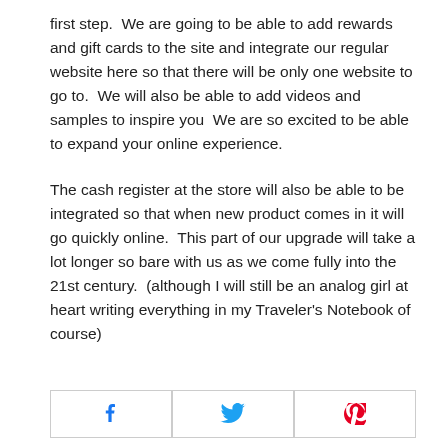first step.  We are going to be able to add rewards and gift cards to the site and integrate our regular website here so that there will be only one website to go to.  We will also be able to add videos and samples to inspire you  We are so excited to be able to expand your online experience.
The cash register at the store will also be able to be integrated so that when new product comes in it will go quickly online.  This part of our upgrade will take a lot longer so bare with us as we come fully into the 21st century.  (although I will still be an analog girl at heart writing everything in my Traveler's Notebook of course)
[Figure (other): Social sharing buttons: Facebook, Twitter, Pinterest]